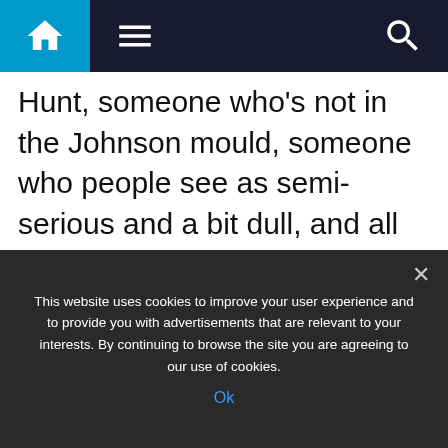Navigation bar with home, menu, and search icons
Hunt, someone who’s not in the Johnson mould, someone who people see as semi-serious and a bit dull, and all of a sudden Keir Starmer’s advantage of being semi-serious and a bit dull, goes.”
Colleagues alleged to the outlet that Claire Ainsley, Labour’s head of policy,
This website uses cookies to improve your user experience and to provide you with advertisements that are relevant to your interests. By continuing to browse the site you are agreeing to our use of cookies.
Ok